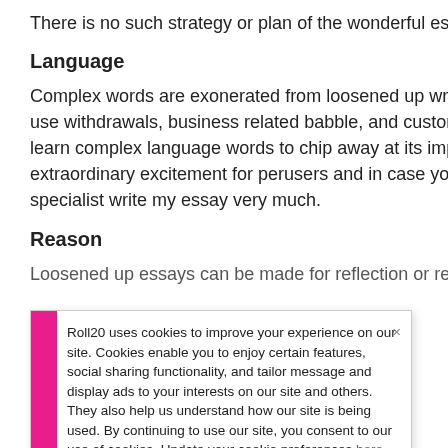There is no such strategy or plan of the wonderful essay. It de essay. He could genuinely merge the development of the fittin
Language
Complex words are exonerated from loosened up writing; you use withdrawals, business related babble, and customary wo learn complex language words to chip away at its impression. extraordinary excitement for perusers and in case you can't w specialist write my essay very much.
Reason
Loosened up essays can be made for reflection or redirectio
Roll20 uses cookies to improve your experience on our site. Cookies enable you to enjoy certain features, social sharing functionality, and tailor message and display ads to your interests on our site and others. They also help us understand how our site is being used. By continuing to use our site, you consent to our use of cookies. Update your cookie preferences here.
deterrent of length in it.